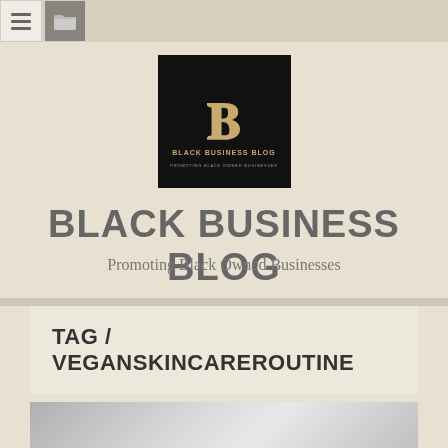[Navigation bar with menu and folder icons]
[Figure (logo): Black Business Blog logo: black square background with gold stylized letter B, text 'BLACK BUSINESS BLOG' and 'PROMOTING BLACK OWNED BUSINESSES']
BLACK BUSINESS BLOG
Promoting Black Owned Businesses
TAG / VEGANSKINCAREROUTINE
[Figure (photo): Partial image of a gray/silver surface visible at the bottom of the page]